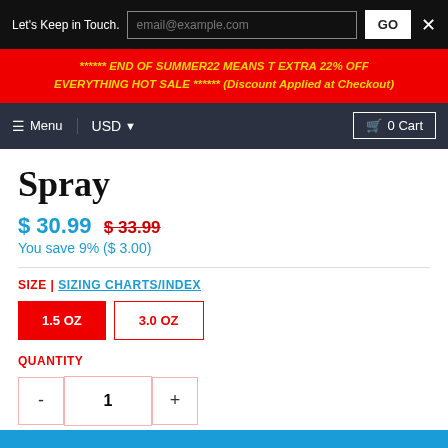Let's Keep in Touch.
email@example.com
GO
×
****** END OF SUMMER22 MEANS T EXTRA 22% OFF EVERYTHING HOT SALE ****** (Discount Applied at Checkout)
☰ Menu
USD ▾
🛍 0 Cart
Spray
$ 30.99  $ 33.99
You save 9% ($ 3.00)
SIZE | SIZING CHARTS/INDEX
1.5 OZ
3.0 OZ
QUANTITY
- 1 +